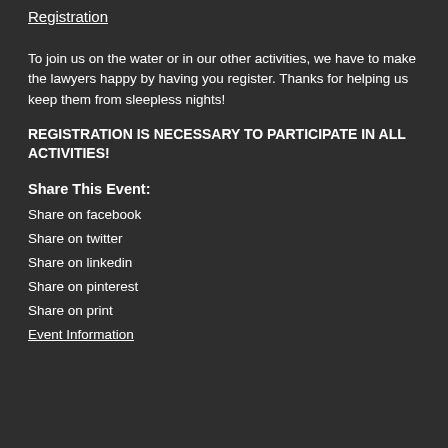Registration
To join us on the water or in our other activities, we have to make the lawyers happy by having you register. Thanks for helping us keep them from sleepless nights!
REGISTRATION IS NECESSARY TO PARTICIPATE IN ALL ACTIVITIES!
Share This Event:
Share on facebook
Share on twitter
Share on linkedin
Share on pinterest
Share on print
Event Information